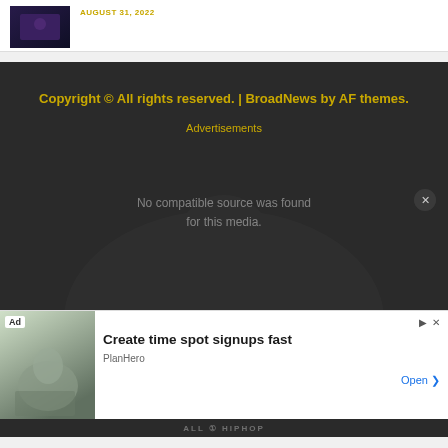[Figure (screenshot): Small thumbnail image showing dark purple/blue content, positioned at top left]
AUGUST 31, 2022
Copyright © All rights reserved. | BroadNews by AF themes.
Advertisements
No compatible source was found for this media.
[Figure (photo): Ad banner showing person at laptop, with text 'Create time spot signups fast' by PlanHero, with Open button]